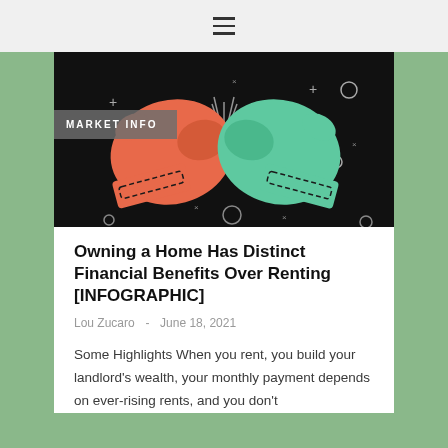☰
[Figure (illustration): Two boxing gloves facing each other — one orange/red on the left and one green/teal on the right — against a dark/black background with decorative symbols (plus signs, circles, x marks). A gray badge overlay reads 'MARKET INFO'.]
Owning a Home Has Distinct Financial Benefits Over Renting [INFOGRAPHIC]
Lou Zucaro  -  June 18, 2021
Some Highlights When you rent, you build your landlord's wealth, your monthly payment depends on ever-rising rents, and you don't